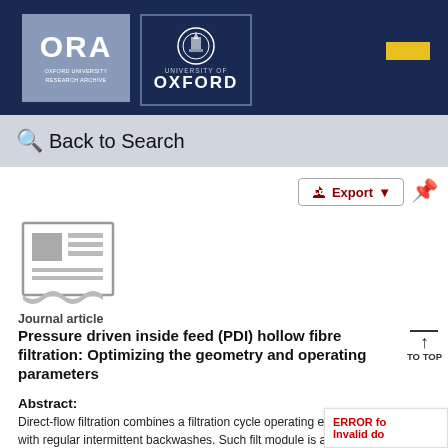[Figure (logo): ORA Oxford University Research Archive logo and University of Oxford crest logo on dark navy header bar]
Back to Search
[Figure (other): Export button with download icon and pin icon]
[Figure (other): Journal article document icon (grey newspaper/document illustration)]
Journal article
Pressure driven inside feed (PDI) hollow fibre filtration: Optimizing the geometry and operating parameters
Abstract:
Direct-flow filtration combines a filtration cycle operating end mode with regular intermittent backwashes. Such filt module is achieved by efficiently capping one end of the
ERROR fo Invalid do